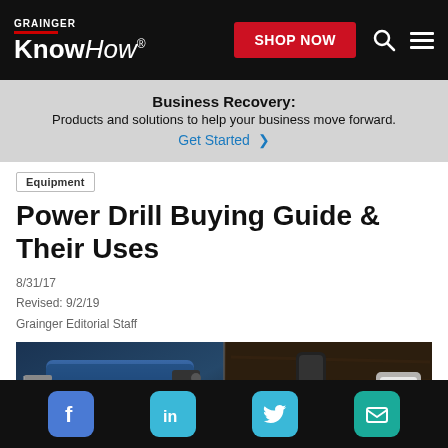GRAINGER KnowHow® — SHOP NOW
Business Recovery: Products and solutions to help your business move forward. Get Started
Equipment
Power Drill Buying Guide & Their Uses
8/31/17
Revised: 9/2/19
Grainger Editorial Staff
[Figure (photo): Two power drills on a wooden surface, one viewed from above on the left panel and a close-up of an orange-accented cordless drill on the right panel.]
Facebook LinkedIn Twitter Email social icons